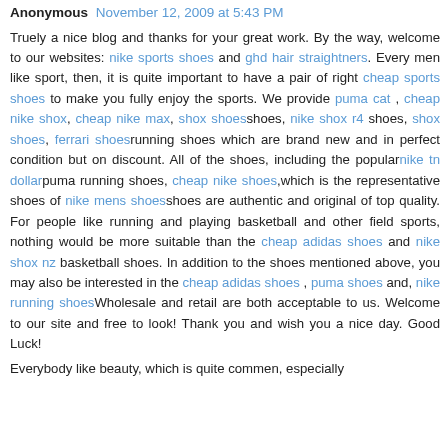Anonymous November 12, 2009 at 5:43 PM
Truely a nice blog and thanks for your great work. By the way, welcome to our websites: nike sports shoes and ghd hair straightners. Every men like sport, then, it is quite important to have a pair of right cheap sports shoes to make you fully enjoy the sports. We provide puma cat , cheap nike shox, cheap nike max, shox shoesshoes, nike shox r4 shoes, shox shoes, ferrari shoesrunning shoes which are brand new and in perfect condition but on discount. All of the shoes, including the popularnike tn dollarpuma running shoes, cheap nike shoes,which is the representative shoes of nike mens shoesshoes are authentic and original of top quality. For people like running and playing basketball and other field sports, nothing would be more suitable than the cheap adidas shoes and nike shox nz basketball shoes. In addition to the shoes mentioned above, you may also be interested in the cheap adidas shoes , puma shoes and, nike running shoesWholesale and retail are both acceptable to us. Welcome to our site and free to look! Thank you and wish you a nice day. Good Luck!
Everybody like beauty, which is quite commen, especially